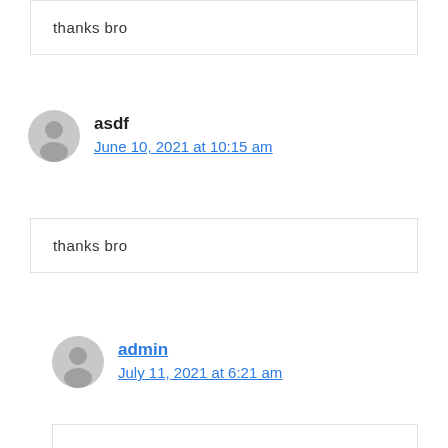thanks bro
asdf
June 10, 2021 at 10:15 am
thanks bro
admin
July 11, 2021 at 6:21 am